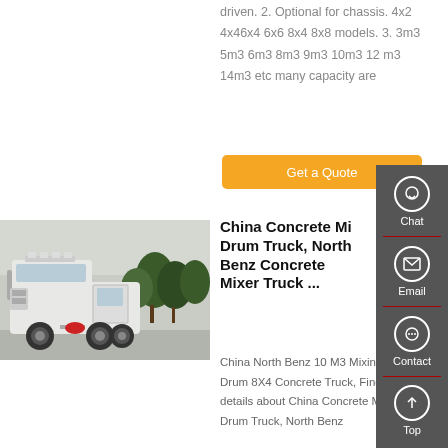driven. 2. Optional for chassis. 4x2 4x46x4 6x6 8x4 8x8 models. 3. 3m3 5m3 6m3 8m3 9m3 10m3 12 m3 14m3 etc many capacity are
Get a Quote
[Figure (photo): White heavy-duty truck (SINOTRUK brand) parked outdoors with trees in background]
China Concrete Mix Drum Truck, North Benz Concrete Mixer Truck ...
China North Benz 10 M3 Mixing Drum 8X4 Concrete Truck, Find details about China Concrete Mix Drum Truck, North Benz